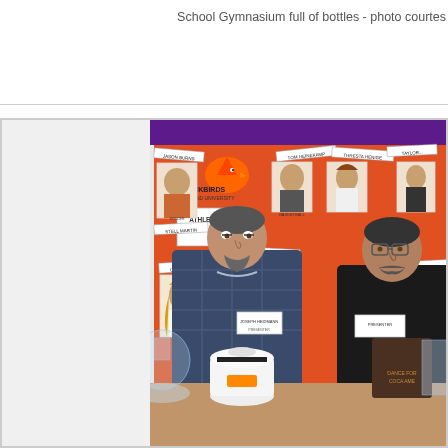School Gymnasium full of bottles - photo courtes...
[Figure (photo): Two men standing in front of a school bulletin board decorated with student athlete photos and a Blackbirds mascot logo. Various glass bottles and laboratory flasks are displayed on a table in front of them. The bulletin board has an orange/red background with purple trim. One man wears a blue plaid shirt, the other wears a black shirt. Signs on the board read 'APPROACH' and 'ATHLETES'.]